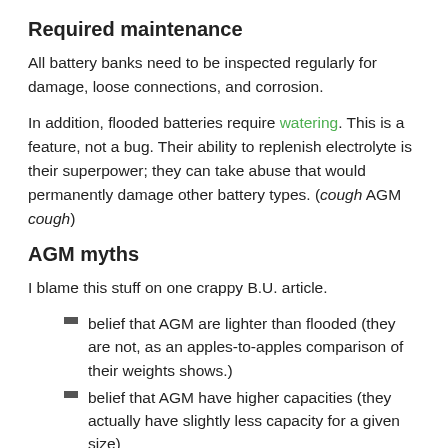Required maintenance
All battery banks need to be inspected regularly for damage, loose connections, and corrosion.
In addition, flooded batteries require watering. This is a feature, not a bug. Their ability to replenish electrolyte is their superpower; they can take abuse that would permanently damage other battery types. (cough AGM cough)
AGM myths
I blame this stuff on one crappy B.U. article.
belief that AGM are lighter than flooded (they are not, as an apples-to-apples comparison of their weights shows.)
belief that AGM have higher capacities (they actually have slightly less capacity for a given size)